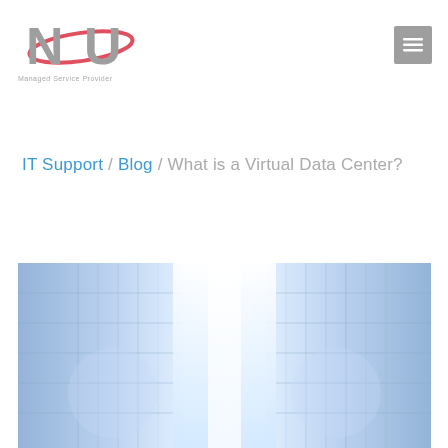NU Managed Service Provider logo and navigation menu button
IT Support / Blog / What is a Virtual Data Center?
[Figure (photo): Futuristic glowing blue server racks in a data center, split view showing two rows of servers with bright white light in the center]